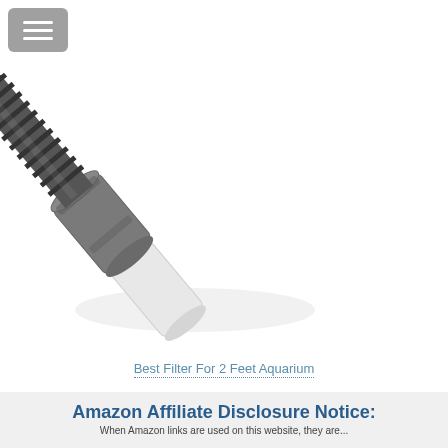[Figure (photo): Close-up photo of a ribbed/corrugated dark grey flexible hose connector with a grey cylindrical coupling piece and a white/clear end tip, angled diagonally on a white background.]
≡ (hamburger menu button)
Best Filter For 2 Feet Aquarium
Amazon Affiliate Disclosure Notice:
When Amazon links are used on this website, they are...